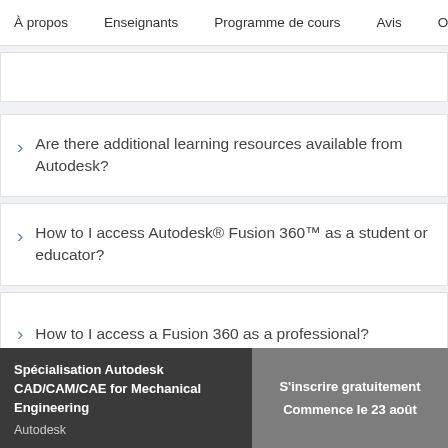À propos   Enseignants   Programme de cours   Avis   Op
Are there additional learning resources available from Autodesk?
How to I access Autodesk® Fusion 360™ as a student or educator?
How to I access a Fusion 360 as a professional?
Spécialisation Autodesk CAD/CAM/CAE for Mechanical Engineering
Autodesk
S'inscrire gratuitement
Commence le 23 août